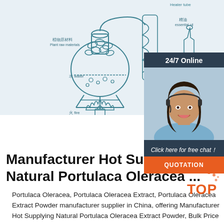[Figure (schematic): Botanical extraction process diagram showing plant raw materials (植物原材料 Plant raw materials) in a flask with water (水 water) heated by fire (火 fire), connected via tubing to a condenser, producing essential oil (精油 essential oil) and hydrosol (纯露 Hydrosol), with labeled apparatus.]
[Figure (photo): Customer service chat widget with dark background showing '24/7 Online', a photo of a smiling woman with headset, text 'Click here for free chat!', and an orange QUOTATION button.]
Manufacturer Hot Supplying Natural Portulaca Oleracea ...
Portulaca Oleracea, Portulaca Oleracea Extract, Portulaca Oleracea Extract Powder manufacturer supplier in China, offering Manufacturer Hot Supplying Natural Portulaca Oleracea Extract Powder, Bulk Price Tsp Textured Soy Protein Soybean Wiredrawing Protein Non GMO Soy Bean Typ Edible